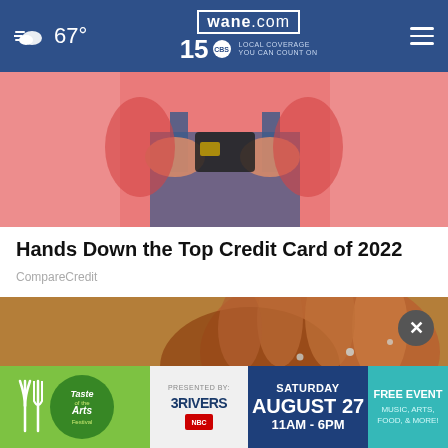67° wane.com 15 LOCAL COVERAGE YOU CAN COUNT ON
[Figure (photo): Person in pink shirt and denim overalls holding a credit card with both hands against a pink background]
Hands Down the Top Credit Card of 2022
CompareCredit
[Figure (photo): Close-up of a weathered hand holding white granules (hail or salt) against a sandy background]
[Figure (infographic): Advertisement banner for Taste of the Arts Festival. PRESENTED BY: 3RIVERS. SATURDAY AUGUST 27 11AM - 6PM. FREE EVENT MUSIC, ARTS, FOOD, & MORE!]